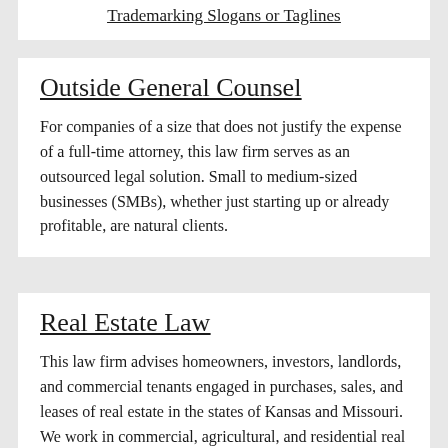Trademarking Slogans or Taglines
Outside General Counsel
For companies of a size that does not justify the expense of a full-time attorney, this law firm serves as an outsourced legal solution. Small to medium-sized businesses (SMBs), whether just starting up or already profitable, are natural clients.
Real Estate Law
This law firm advises homeowners, investors, landlords, and commercial tenants engaged in purchases, sales, and leases of real estate in the states of Kansas and Missouri. We work in commercial, agricultural, and residential real estate, handling both real estate disputes and real estate transactions.
Reviewing Commercial Leases